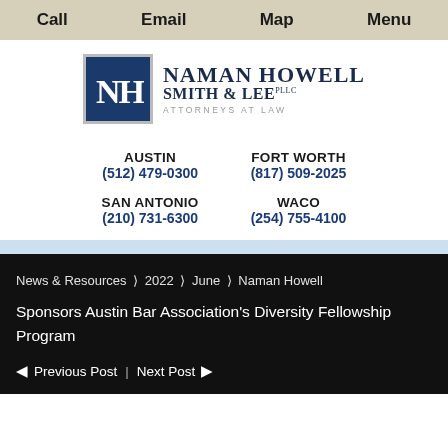Call   Email   Map   Menu
[Figure (logo): Naman Howell Smith & Lee PLLC logo with blue NH monogram box and firm name text: ATTORNEYS AT LAW]
AUSTIN
(512) 479-0300

SAN ANTONIO
(210) 731-6300

FORT WORTH
(817) 509-2025

WACO
(254) 755-4100
News & Resources > 2022 > June > Naman Howell Sponsors Austin Bar Association's Diversity Fellowship Program
◄ Previous Post | Next Post ►